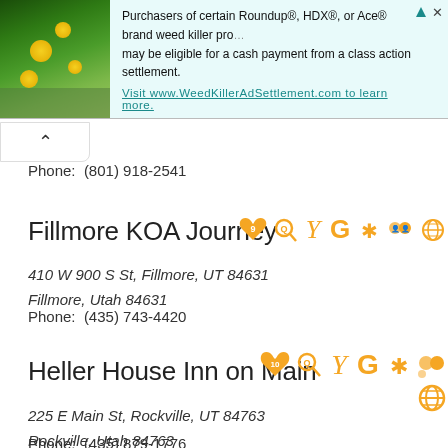[Figure (infographic): Advertisement banner with plant/flower background photo on the left and text about Roundup class action settlement on the right]
Phone:  (801) 918-2541
Fillmore KOA Journey
410 W 900 S St, Fillmore, UT 84631
Fillmore, Utah 84631
Phone:  (435) 743-4420
Heller House Inn on Main
225 E Main St, Rockville, UT 84763
Rockville, Utah 84763
Phone:  (435) 879-1776